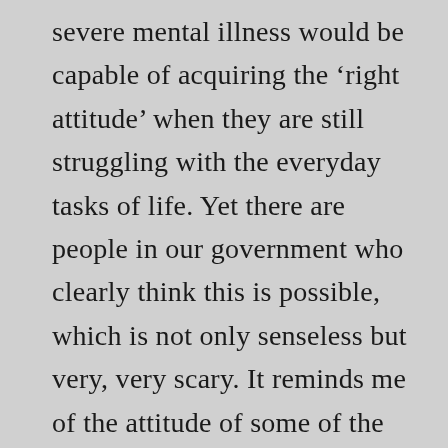severe mental illness would be capable of acquiring the ‘right attitude’ when they are still struggling with the everyday tasks of life. Yet there are people in our government who clearly think this is possible, which is not only senseless but very, very scary. It reminds me of the attitude of some of the people I worked with over the years, who truly seemed to believe that mental illness is itself a ‘lifestyle